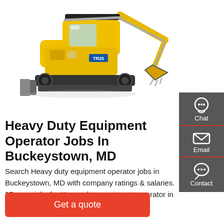[Figure (photo): Yellow mini excavator / compact tracked excavator on white background, Kato brand, model TR25]
[Figure (infographic): Dark grey sidebar with three contact icons and labels: Chat (headset icon), Email (envelope icon), Contact (speech bubble icon), separated by red underlines]
Heavy Duty Equipment Operator Jobs In Buckeystown, MD
Search Heavy duty equipment operator jobs in Buckeystown, MD with company ratings & salaries. 25 open jobs for Heavy duty equipment operator in Buckeystown.
Get a quote